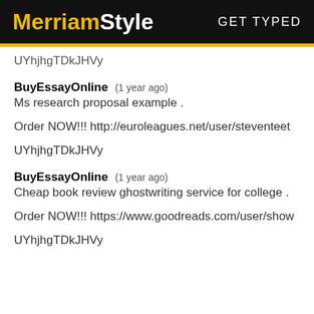MerriamStyle  GET TYPED
UYhjhgTDkJHVy
BuyEssayOnline  (1 year ago)
Ms research proposal example .
Order NOW!!! http://euroleagues.net/user/steventeet
UYhjhgTDkJHVy
BuyEssayOnline  (1 year ago)
Cheap book review ghostwriting service for college .
Order NOW!!! https://www.goodreads.com/user/show
UYhjhgTDkJHVy